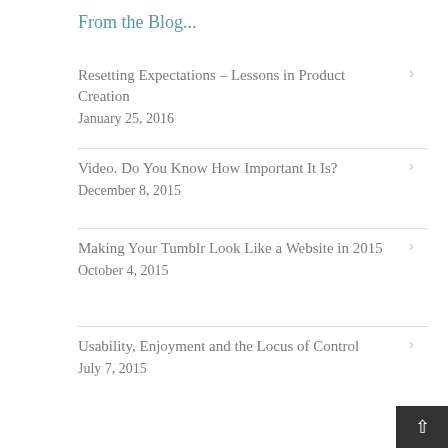From the Blog...
Resetting Expectations – Lessons in Product Creation
January 25, 2016
Video. Do You Know How Important It Is?
December 8, 2015
Making Your Tumblr Look Like a Website in 2015
October 4, 2015
Usability, Enjoyment and the Locus of Control
July 7, 2015